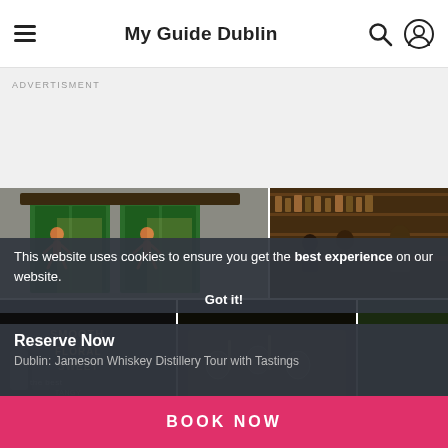My Guide Dublin
ADVERTISMENT
[Figure (photo): Exterior of Jameson Distillery with green doors featuring distillery logo figures]
[Figure (photo): Interior bar scene with people at counter and whiskey bottles on shelves]
[Figure (photo): Close-up of flavor descriptors: SMOOTH, FLORAL, SWEET on dark background with glassware]
[Figure (photo): Overhead view of distillery tasting table with glasses and tools]
[Figure (photo): Jameson branded equipment, dark and green tones, +5 badge overlay]
This website uses cookies to ensure you get the best experience on our website.
Got it!
Reserve Now
Dublin: Jameson Whiskey Distillery Tour with Tastings
BOOK NOW